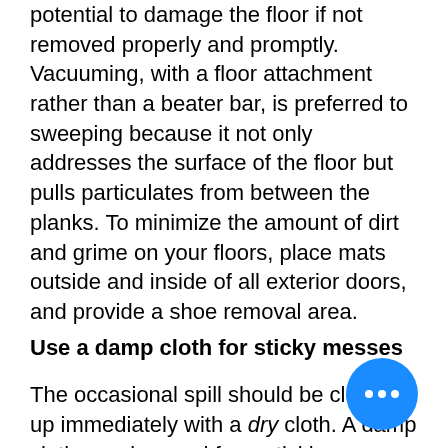potential to damage the floor if not removed properly and promptly. Vacuuming, with a floor attachment rather than a beater bar, is preferred to sweeping because it not only addresses the surface of the floor but pulls particulates from between the planks. To minimize the amount of dirt and grime on your floors, place mats outside and inside of all exterior doors, and provide a shoe removal area.
Use a damp cloth for sticky messes
The occasional spill should be cleaned up immediately with a dry cloth. A damp cloth may be used for a stickier mess, but the area should be dried after. Never pour water directly on the fl... use it to mop the floors as wet mopping